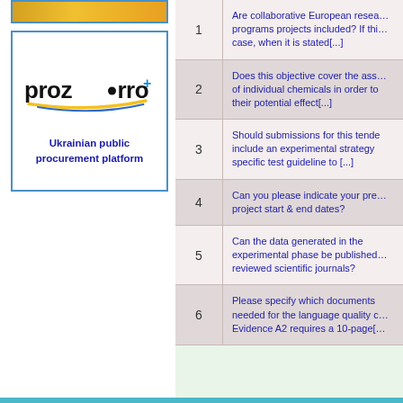[Figure (logo): Prozorro Ukrainian public procurement platform logo with blue and yellow arc design]
Ukrainian public procurement platform
1. Are collaborative European research programs projects included? If this is the case, when it is stated[...]
2. Does this objective cover the assessment of individual chemicals in order to assess their potential effect[...]
3. Should submissions for this tender include an experimental strategy and specific test guideline to [...]
4. Can you please indicate your preferred project start & end dates?
5. Can the data generated in the experimental phase be published in peer-reviewed scientific journals?
6. Please specify which documents are needed for the language quality check. Evidence A2 requires a 10-page[...]